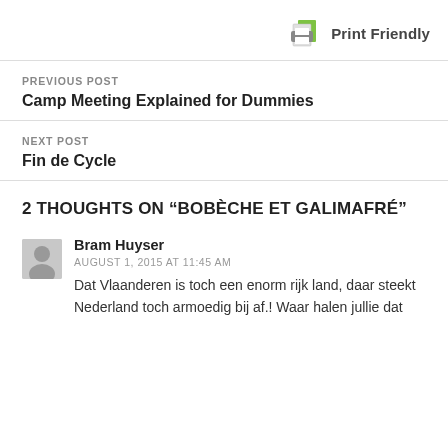[Figure (logo): Print Friendly printer icon with green pages and text 'Print Friendly']
PREVIOUS POST
Camp Meeting Explained for Dummies
NEXT POST
Fin de Cycle
2 THOUGHTS ON “BOBÈCHE ET GALIMAFRÉ”
Bram Huyser
AUGUST 1, 2015 AT 11:45 AM
Dat Vlaanderen is toch een enorm rijk land, daar steekt Nederland toch armoedig bij af.! Waar halen jullie dat